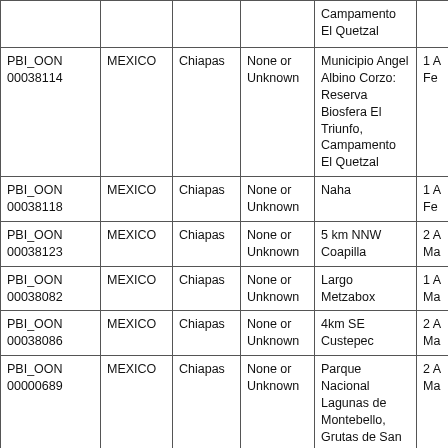|  |  |  |  | Campamento El Quetzal |  |
| PBI_OON 00038114 | MEXICO | Chiapas | None or Unknown | Municipio Angel Albino Corzo: Reserva Biosfera El Triunfo, Campamento El Quetzal | 1 A Fe |
| PBI_OON 00038118 | MEXICO | Chiapas | None or Unknown | Naha | 1 A Fe |
| PBI_OON 00038123 | MEXICO | Chiapas | None or Unknown | 5 km NNW Coapilla | 2 A Ma |
| PBI_OON 00038082 | MEXICO | Chiapas | None or Unknown | Largo Metzabox | 1 A Ma |
| PBI_OON 00038086 | MEXICO | Chiapas | None or Unknown | 4km SE Custepec | 2 A Ma |
| PBI_OON 00000689 | MEXICO | Chiapas | None or Unknown | Parque Nacional Lagunas de Montebello, Grutas de San Rafael | 2 A Ma |
| PBI_OON 00046501 | MEXICO | Chiapas | None or Unknown | 8.9 km E Rayon | 3 A Ma |
| PBI_OON 00046506 | MEXICO | Chiapas | None or Unknown | Yerbabuena Reserve, 2.1 km NW Pueblo Nuevo Solistahuacan | 3 A Fe |
|  |  |  |  | Municipio Angel Albino Corzo: |  |